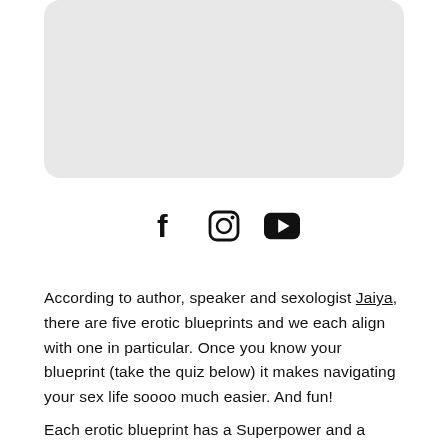[Figure (photo): Light gray rounded rectangle placeholder image at the top of the page]
[Figure (infographic): Three social media icons: Facebook (f), Instagram (camera), YouTube (play button) displayed in a row]
According to author, speaker and sexologist Jaiya, there are five erotic blueprints and we each align with one in particular. Once you know your blueprint (take the quiz below) it makes navigating your sex life soooo much easier. And fun!
Each erotic blueprint has a Superpower and a Shadow. The